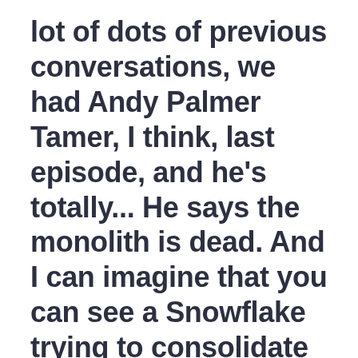lot of dots of previous conversations, we had Andy Palmer Tamer, I think, last episode, and he's totally... He says the monolith is dead. And I can imagine that you can see a Snowflake trying to consolidate and trying to make that one stop shop. Right? The modern Oracle and the cloud type of thing. And some people it's like, "I just have one thing